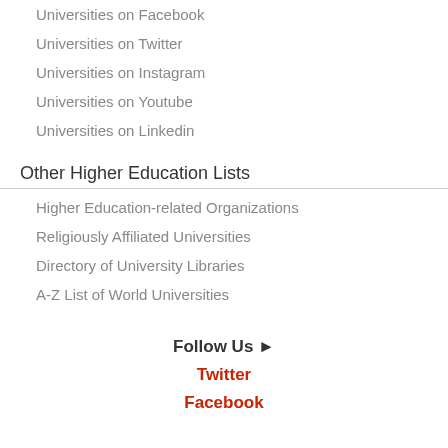Universities on Facebook
Universities on Twitter
Universities on Instagram
Universities on Youtube
Universities on Linkedin
Other Higher Education Lists
Higher Education-related Organizations
Religiously Affiliated Universities
Directory of University Libraries
A-Z List of World Universities
Follow Us ►
Twitter
Facebook